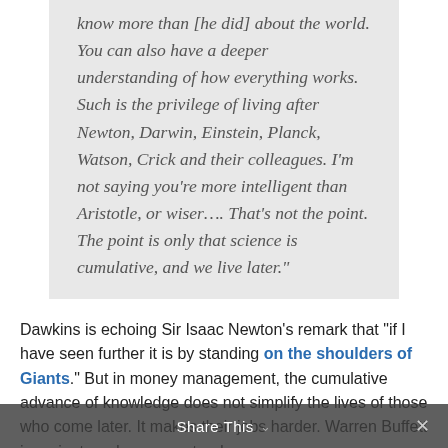know more than [he did] about the world. You can also have a deeper understanding of how everything works. Such is the privilege of living after Newton, Darwin, Einstein, Planck, Watson, Crick and their colleagues. I'm not saying you're more intelligent than Aristotle, or wiser.... That's not the point. The point is only that science is cumulative, and we live later.”
Dawkins is echoing Sir Isaac Newton’s remark that “if I have seen further it is by standing on the shoulders of Giants.” But in money management, the cumulative advance of knowledge does not simplify the lives of those who come later. It makes their jobs harder. Warren Buffett is a giant, and you can stand
Share This